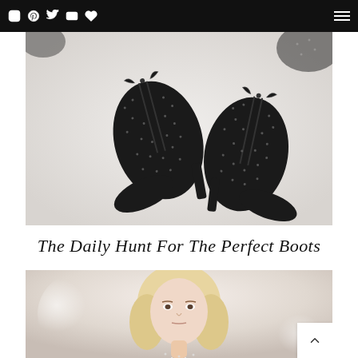Social media icons: Instagram, Pinterest, Twitter, YouTube, Heart | Hamburger menu
[Figure (photo): Overhead flat-lay photo of two black studded suede ankle boots with kitten heels and lace-up detailing on a white background]
The Daily Hunt For The Perfect Boots
[Figure (photo): Fashion photo of a blonde female model looking at the camera, wearing a sparkly outfit, with a blurred light background]